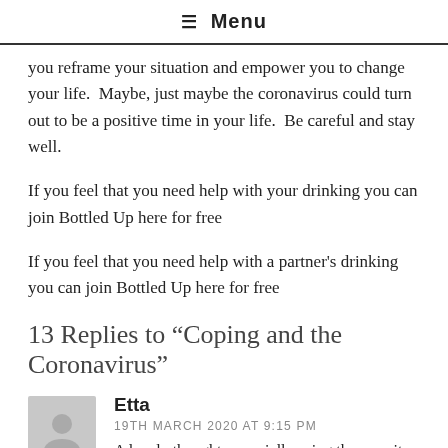☰ Menu
you reframe your situation and empower you to change your life.  Maybe, just maybe the coronavirus could turn out to be a positive time in your life.  Be careful and stay well.
If you feel that you need help with your drinking you can join Bottled Up here for free
If you feel that you need help with a partner's drinking you can join Bottled Up here for free
13 Replies to “Coping and the Coronavirus”
Etta
19TH MARCH 2020 AT 9:15 PM
A lovely thought, especially using the serenity prayer